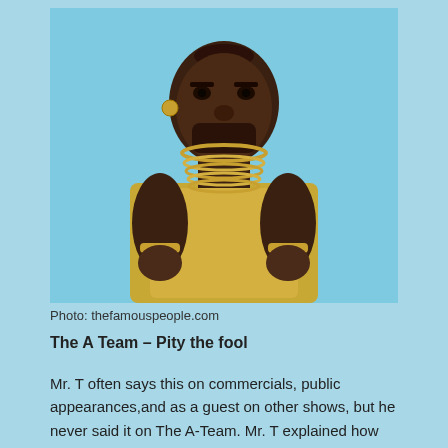[Figure (photo): Portrait photo of Mr. T wearing gold chains and a gold sleeveless vest, with a serious expression, against a light blue background.]
Photo: thefamouspeople.com
The A Team – Pity the fool
Mr. T often says this on commercials, public appearances,and as a guest on other shows, but he never said it on The A-Team. Mr. T explained how this